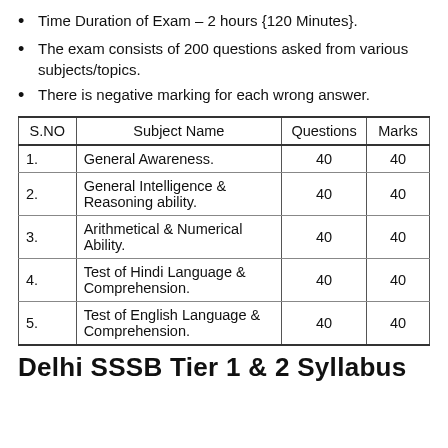Time Duration of Exam – 2 hours {120 Minutes}.
The exam consists of 200 questions asked from various subjects/topics.
There is negative marking for each wrong answer.
| S.NO | Subject Name | Questions | Marks |
| --- | --- | --- | --- |
| 1. | General Awareness. | 40 | 40 |
| 2. | General Intelligence & Reasoning ability. | 40 | 40 |
| 3. | Arithmetical & Numerical Ability. | 40 | 40 |
| 4. | Test of Hindi Language & Comprehension. | 40 | 40 |
| 5. | Test of English Language & Comprehension. | 40 | 40 |
Delhi SSSB Tier 1 & 2 Syllabus